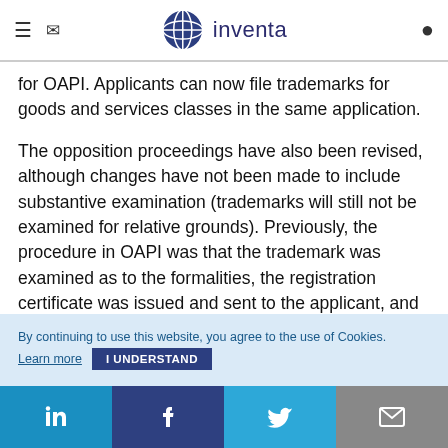inventa
for OAPI. Applicants can now file trademarks for goods and services classes in the same application.
The opposition proceedings have also been revised, although changes have not been made to include substantive examination (trademarks will still not be examined for relative grounds). Previously, the procedure in OAPI was that the trademark was examined as to the formalities, the registration certificate was issued and sent to the applicant, and only then was the application published for opposition purposes (six-month period counting from the
By continuing to use this website, you agree to the use of Cookies.
Learn more   I UNDERSTAND
LinkedIn  Facebook  Twitter  Email